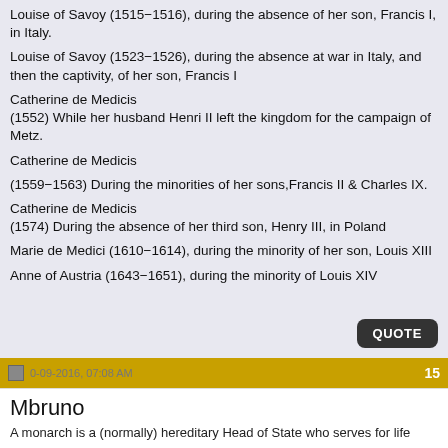Louise of Savoy (1515−1516), during the absence of her son, Francis I, in Italy.
Louise of Savoy (1523−1526), during the absence at war in Italy, and then the captivity, of her son, Francis I
Catherine de Medicis
(1552) While her husband Henri II left the kingdom for the campaign of Metz.
Catherine de Medicis
(1559−1563) During the minorities of her sons,Francis II & Charles IX.
Catherine de Medicis
(1574) During the absence of her third son, Henry III, in Poland
Marie de Medici (1610−1614), during the minority of her son, Louis XIII
Anne of Austria (1643−1651), during the minority of Louis XIV
0-09-2016, 07:08 AM   15
Mbruno
A monarch is a (normally) hereditary Head of State who serves for life